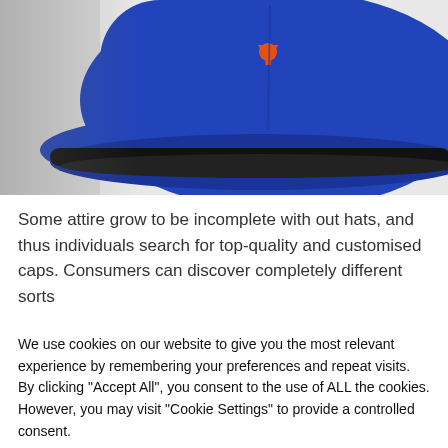[Figure (photo): A blue New Era 59FIFTY fitted baseball cap with an orange logo on the front, shown from a slightly elevated front-side angle. The cap has a black brim underside and a New Era sticker on the brim.]
Some attire grow to be incomplete with out hats, and thus individuals search for top-quality and customised caps. Consumers can discover completely different sorts
We use cookies on our website to give you the most relevant experience by remembering your preferences and repeat visits. By clicking "Accept All", you consent to the use of ALL the cookies. However, you may visit "Cookie Settings" to provide a controlled consent.
Cookie Settings
Accept All